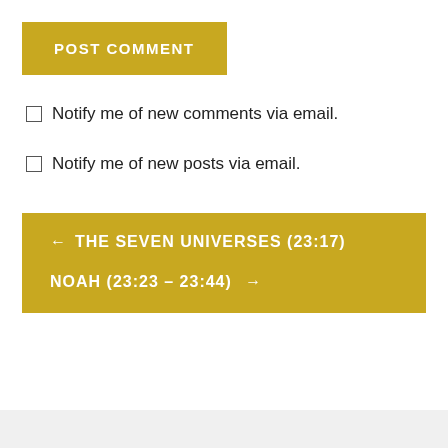POST COMMENT
Notify me of new comments via email.
Notify me of new posts via email.
← THE SEVEN UNIVERSES (23:17)
NOAH (23:23 – 23:44) →